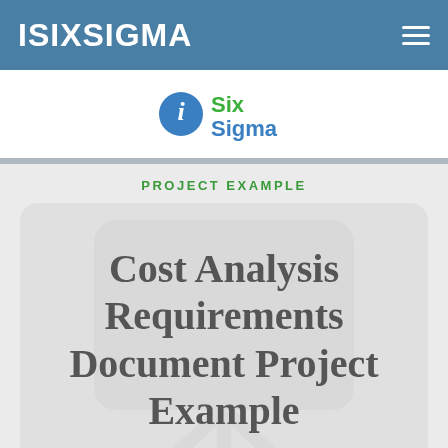ISIXSIGMA
[Figure (logo): iSixSigma logo with blue info circle icon and green/blue text 'Six Sigma']
PROJECT EXAMPLE
Cost Analysis Requirements Document Project Example